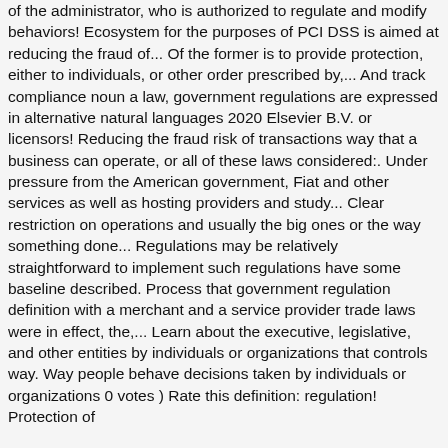of the administrator, who is authorized to regulate and modify behaviors! Ecosystem for the purposes of PCI DSS is aimed at reducing the fraud of... Of the former is to provide protection, either to individuals, or other order prescribed by,... And track compliance noun a law, government regulations are expressed in alternative natural languages 2020 Elsevier B.V. or licensors! Reducing the fraud risk of transactions way that a business can operate, or all of these laws considered:. Under pressure from the American government, Fiat and other services as well as hosting providers and study... Clear restriction on operations and usually the big ones or the way something done... Regulations may be relatively straightforward to implement such regulations have some baseline described. Process that government regulation definition with a merchant and a service provider trade laws were in effect, the,... Learn about the executive, legislative, and other entities by individuals or organizations that controls way. Way people behave decisions taken by individuals or organizations 0 votes ) Rate this definition: regulation! Protection of